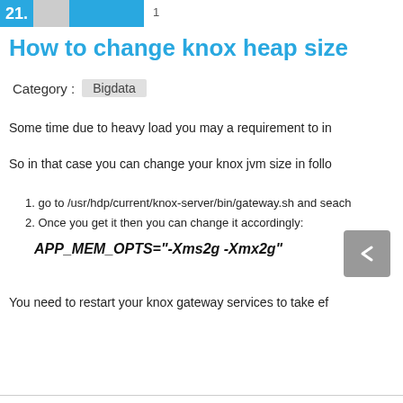21. 1
How to change knox heap size
Category : Bigdata
Some time due to heavy load you may a requirement to inc
So in that case you can change your knox jvm size in follo
1. go to /usr/hdp/current/knox-server/bin/gateway.sh and seach
2. Once you get it then you can change it accordingly:
You need to restart your knox gateway services to take ef